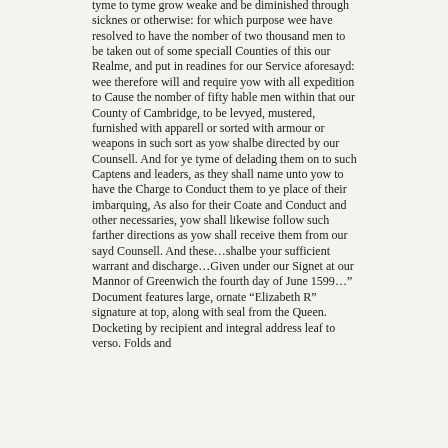tyme to tyme grow weake and be diminished through sicknes or otherwise: for which purpose wee have resolved to have the nomber of two thousand men to be taken out of some speciall Counties of this our Realme, and put in readines for our Service aforesayd: wee therefore will and require yow with all expedition to Cause the nomber of fifty hable men within that our County of Cambridge, to be levyed, mustered, furnished with apparell or sorted with armour or weapons in such sort as yow shalbe directed by our Counsell. And for ye tyme of delading them on to such Captens and leaders, as they shall name unto yow to have the Charge to Conduct them to ye place of their imbarquing, As also for their Coate and Conduct and other necessaries, yow shall likewise follow such farther directions as yow shall receive them from our sayd Counsell. And these…shalbe your sufficient warrant and discharge…Given under our Signet at our Mannor of Greenwich the fourth day of June 1599…" Document features large, ornate "Elizabeth R" signature at top, along with seal from the Queen. Docketing by recipient and integral address leaf to verso. Folds and